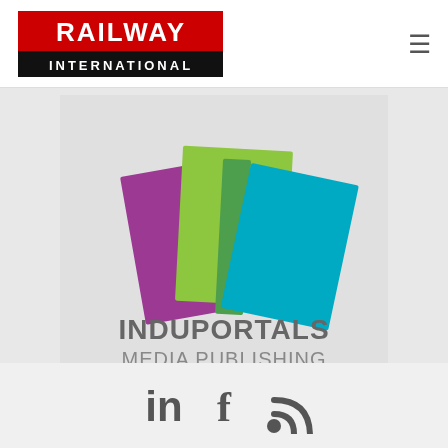[Figure (logo): Railway International logo — red rectangle with white bold text RAILWAY on top, black rectangle with white bold text INTERNATIONAL below]
[Figure (logo): Induportals Media Publishing logo — three overlapping colored rectangles (purple, lime green, teal/cyan) above bold gray text INDUPORTALS MEDIA PUBLISHING on a light gray background]
[Figure (other): Social media icons row: LinkedIn (in), Facebook (f), RSS feed symbol on light gray bar]